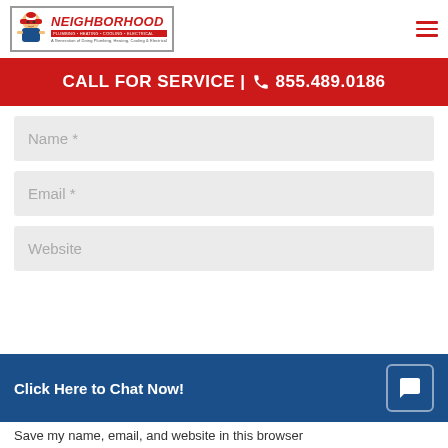[Figure (logo): Neighborhood Plumbing Heating Cooling Electrical logo with cartoon plumber mascot]
CALL FOR SERVICE | 855.489.0186
Name *
Email *
Website
Click Here to Chat Now!
Save my name, email, and website in this browser